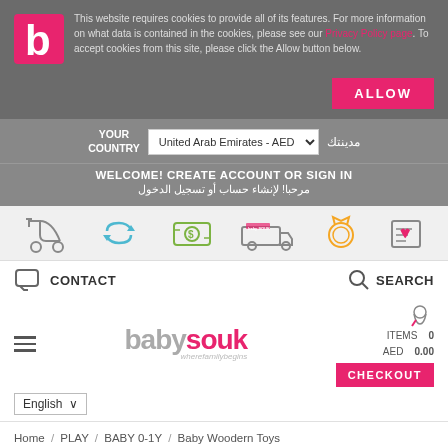This website requires cookies to provide all of its features. For more information on what data is contained in the cookies, please see our Privacy Policy page. To accept cookies from this site, please click the Allow button below.
ALLOW
YOUR COUNTRY | United Arab Emirates - AED | مدينتك
WELCOME! CREATE ACCOUNT OR SIGN IN
مرحبا! لإنشاء حساب أو تسجيل الدخول
[Figure (illustration): Row of 6 icons: baby stroller, return/exchange arrows, money/cash, baby souk delivery van, medal/award, wishlist/clipboard]
CONTACT
SEARCH
[Figure (logo): babysouk logo with tagline 'wherefarnilybegins']
ITEMS 0
AED 0.00
CHECKOUT
English
Home / PLAY / BABY 0-1Y / Baby Woodern Toys